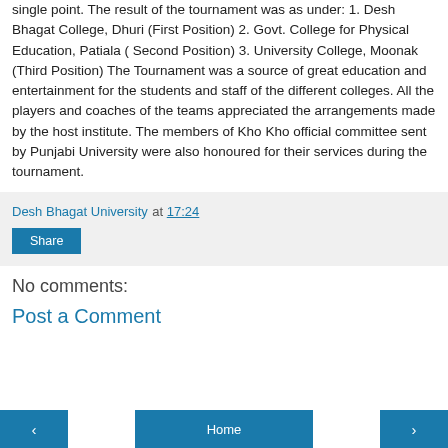single point. The result of the tournament was as under: 1. Desh Bhagat College, Dhuri (First Position) 2. Govt. College for Physical Education, Patiala ( Second Position) 3. University College, Moonak (Third Position) The Tournament was a source of great education and entertainment for the students and staff of the different colleges. All the players and coaches of the teams appreciated the arrangements made by the host institute. The members of Kho Kho official committee sent by Punjabi University were also honoured for their services during the tournament.
Desh Bhagat University at 17:24
Share
No comments:
Post a Comment
< Home >